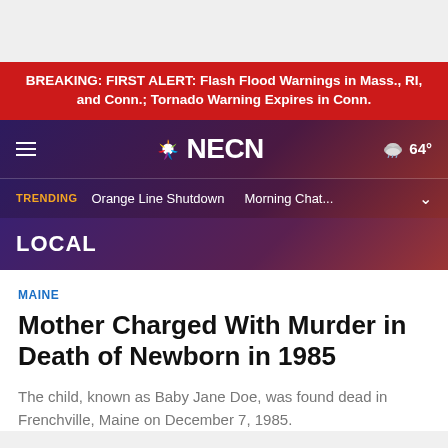BREAKING:  FIRST ALERT: Flash Flood Warnings in Mass., RI, and Conn.; Tornado Warning Expires in Conn.
[Figure (logo): NECN NBC logo with hamburger menu and weather display showing 64 degrees]
TRENDING  Orange Line Shutdown  Morning Chat...
LOCAL
MAINE
Mother Charged With Murder in Death of Newborn in 1985
The child, known as Baby Jane Doe, was found dead in Frenchville, Maine on December 7, 1985.